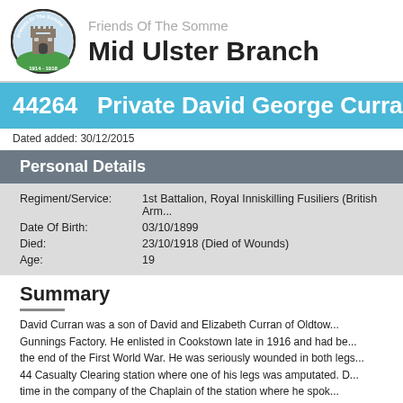[Figure (logo): Friends Of The Somme circular logo with castle, dated 1914-1918]
Friends Of The Somme
Mid Ulster Branch
44264   Private David George Curran
Dated added: 30/12/2015
Personal Details
| Regiment/Service: | 1st Battalion, Royal Inniskilling Fusiliers (British Arm... |
| Date Of Birth: | 03/10/1899 |
| Died: | 23/10/1918 (Died of Wounds) |
| Age: | 19 |
Summary
David Curran was a son of David and Elizabeth Curran of Oldtow... Gunnings Factory. He enlisted in Cookstown late in 1916 and had be... the end of the First World War. He was seriously wounded in both legs... 44 Casualty Clearing station where one of his legs was amputated. D... time in the company of the Chaplain of the station where he spok... members of the family at home. David died of his wounds on 23rd Octo...